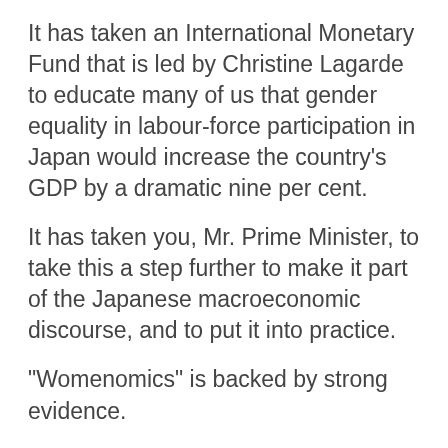It has taken an International Monetary Fund that is led by Christine Lagarde to educate many of us that gender equality in labour-force participation in Japan would increase the country’s GDP by a dramatic nine per cent.
It has taken you, Mr. Prime Minister, to take this a step further to make it part of the Japanese macroeconomic discourse, and to put it into practice.
“Womenomics” is backed by strong evidence.
The Government of Norway tells us that their high quality of life is largely due to their deeply entrenched gender equality policies and practice, not their oil.